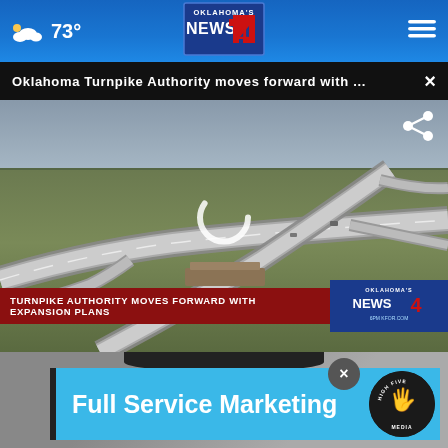73° | Oklahoma's News 4 logo | navigation menu
Oklahoma Turnpike Authority moves forward with ... ×
[Figure (screenshot): Aerial drone video still of Oklahoma highway interchange showing multiple overpass ramps and grass areas. Lower third red banner reads TURNPIKE AUTHORITY MOVES FORWARD WITH EXPANSION PLANS with Oklahoma's News 4 logo on the right. A loading spinner is visible in the center of the video. A share icon is at the top right.]
[Figure (photo): Partial view of a person's head/face in the background behind an advertisement overlay.]
Full Service Marketing
[Figure (logo): High Five Media logo — circular badge with hand icon and HIGH FIVE MEDIA text]